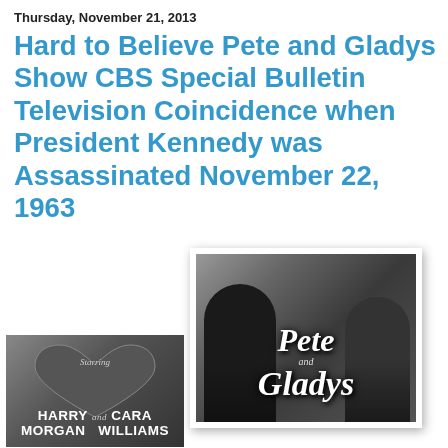Thursday, November 21, 2013
Hard to Believe Pete and Gladys Show CBS Special Bulletin Television Coincidence when President Kennedy was Assassinated November 22, 1963
[Figure (photo): Black and white title card from the Pete and Gladys TV show featuring two actors and stylized script text reading 'Pete and Gladys']
[Figure (photo): Black and white TV title card showing a heart shape with text 'Starring HARRY and CARA MORGAN WILLIAMS']